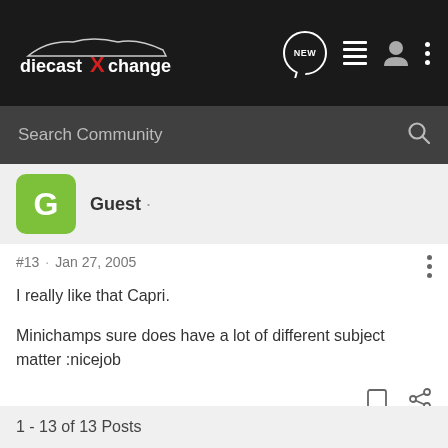[Figure (screenshot): diecastXchange forum website header navigation bar with logo, NEW message icon, list icon, user icon, and menu dots]
Search Community
Guest ·
#13 · Jan 27, 2005
I really like that Capri.

Minichamps sure does have a lot of different subject matter :nicejob
1 - 13 of 13 Posts